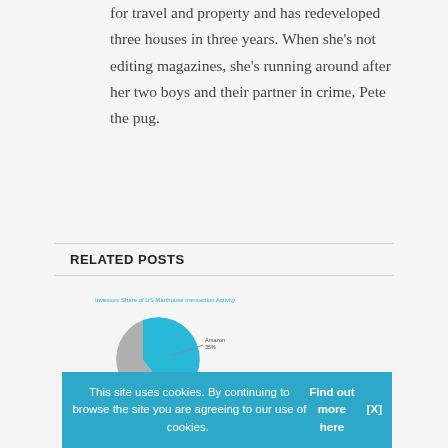for travel and property and has redeveloped three houses in three years. When she's not editing magazines, she's running around after her two boys and their partner in crime, Pete the pug.
RELATED POSTS
[Figure (pie-chart): Pie chart showing investors share with cyan and gray segments, with Amazon 35% label visible]
JUNE 8, 20...
How will ... in fulfillm... expansio...
This site uses cookies. By continuing to browse the site you are agreeing to our use of cookies. Find out more here   [X]